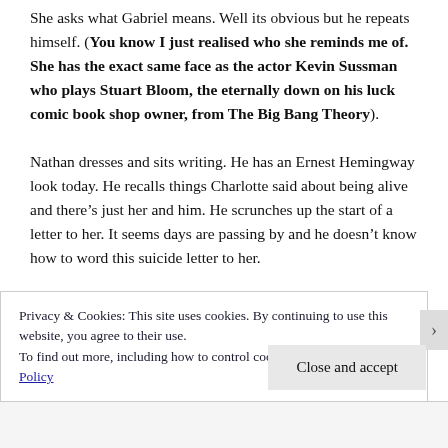She asks what Gabriel means. Well its obvious but he repeats himself. (You know I just realised who she reminds me of. She has the exact same face as the actor Kevin Sussman who plays Stuart Bloom, the eternally down on his luck comic book shop owner, from The Big Bang Theory).

Nathan dresses and sits writing. He has an Ernest Hemingway look today. He recalls things Charlotte said about being alive and there's just her and him. He scrunches up the start of a letter to her. It seems days are passing by and he doesn't know how to word this suicide letter to her.
Privacy & Cookies: This site uses cookies. By continuing to use this website, you agree to their use.
To find out more, including how to control cookies, see here: Cookie Policy
Close and accept